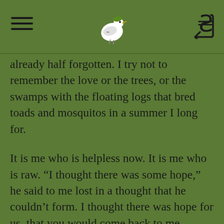[hamburger menu] [bird logo] [back arrow]
already half forgotten. I try not to remember the love or the trees, or the swamps with the floating logs that bred toads and mosquitos in a summer I long for.
It is me who is helpless now. It is me who is raw. “I thought there was some hope,” he said to me lost in a thought that he couldn’t form. I thought there was hope for us, that you would come back to me. Booze and lies. DMT and putting me last. Methamphetamine and criminal intent. Telling me to get off of your floor whenever you felt like it, telling me that you wouldn’t even drive